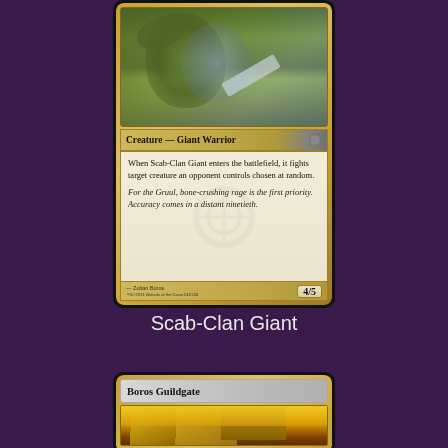[Figure (illustration): Magic: The Gathering card - Scab-Clan Giant. Shows a creature card of type Creature — Giant Warrior with power/toughness 4/5. Card text: 'When Scab-Clan Giant enters the battlefield, it fights target creature an opponent controls chosen at random.' Flavor text: 'For the Gruul, bone-crushing rage is the first priority. Accuracy comes in a distant ninetieth.' Art by Zoltan Boros.]
Scab-Clan Giant
[Figure (illustration): Magic: The Gathering card - Boros Guildgate. Shows a land card with golden gate/archway artwork.]